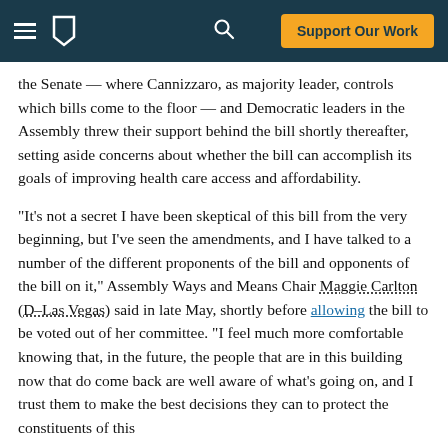Support Our Work
the Senate — where Cannizzaro, as majority leader, controls which bills come to the floor — and Democratic leaders in the Assembly threw their support behind the bill shortly thereafter, setting aside concerns about whether the bill can accomplish its goals of improving health care access and affordability.
“It’s not a secret I have been skeptical of this bill from the very beginning, but I’ve seen the amendments, and I have talked to a number of the different proponents of the bill and opponents of the bill on it,” Assembly Ways and Means Chair Maggie Carlton (D–Las Vegas) said in late May, shortly before allowing the bill to be voted out of her committee. “I feel much more comfortable knowing that, in the future, the people that are in this building now that do come back are well aware of what’s going on, and I trust them to make the best decisions they can to protect the constituents of this